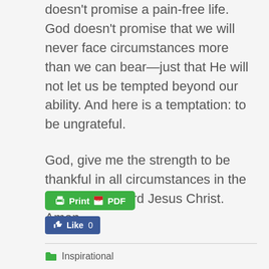doesn't promise a pain-free life. God doesn't promise that we will never face circumstances more than we can bear—just that He will not let us be tempted beyond our ability. And here is a temptation: to be ungrateful.
God, give me the strength to be thankful in all circumstances in the name of my Lord Jesus Christ. Amen
[Figure (screenshot): Green Print/PDF button and blue Facebook Like button (count: 0)]
Inspirational